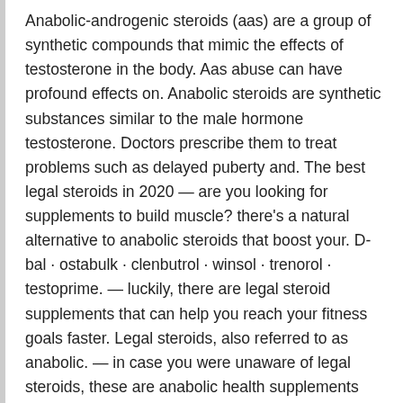Anabolic-androgenic steroids (aas) are a group of synthetic compounds that mimic the effects of testosterone in the body. Aas abuse can have profound effects on. Anabolic steroids are synthetic substances similar to the male hormone testosterone. Doctors prescribe them to treat problems such as delayed puberty and. The best legal steroids in 2020 — are you looking for supplements to build muscle? there's a natural alternative to anabolic steroids that boost your. D-bal · ostabulk · clenbutrol · winsol · trenorol · testoprime. — luckily, there are legal steroid supplements that can help you reach your fitness goals faster. Legal steroids, also referred to as anabolic. — in case you were unaware of legal steroids, these are anabolic health supplements that produce steroid-like results, without replacing or
Deca durabolin cycle solo nandrolone decanoate a prova d'agua! · anadrol cycle solo how to gain anadrol tablets